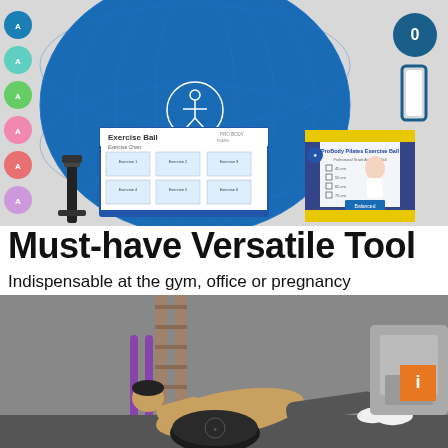[Figure (photo): ProBody Pilates exercise ball product listing image showing: large blue exercise ball with Pro Body Pilates logo, colorful size-variant swatches on left (teal, mint, green, pink, salmon, purple), a hand pump, an exercise chart booklet, and product box. Upper half product photo.]
Must-have Versatile Tool
Indispensable at the gym, office or pregnancy
[Figure (photo): Man performing push-up exercise on a ProBody Pilates exercise ball in a gym setting. Bottom half action photo.]